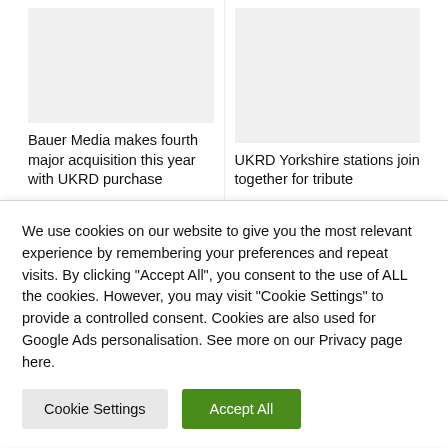Bauer Media makes fourth major acquisition this year with UKRD purchase
UKRD Yorkshire stations join together for tribute
We use cookies on our website to give you the most relevant experience by remembering your preferences and repeat visits. By clicking "Accept All", you consent to the use of ALL the cookies. However, you may visit "Cookie Settings" to provide a controlled consent. Cookies are also used for Google Ads personalisation. See more on our Privacy page here.
Cookie Settings
Accept All